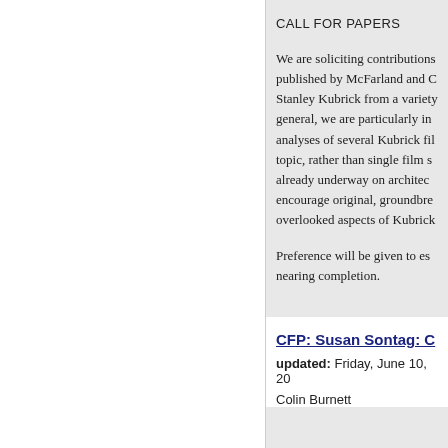CALL FOR PAPERS
We are soliciting contributions published by McFarland and C Stanley Kubrick from a variety general, we are particularly in analyses of several Kubrick fil topic, rather than single film s already underway on architec encourage original, groundbre overlooked aspects of Kubrick
Preference will be given to es nearing completion.
CFP: Susan Sontag: C
updated: Friday, June 10, 20
Colin Burnett